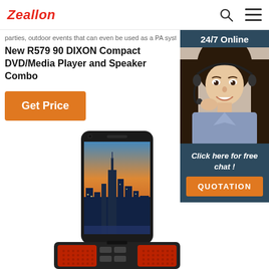Zeallon
parties, outdoor events that can even be used as a PA system. in
New R579 90 DIXON Compact DVD/Media Player and Speaker Combo
Get Price
[Figure (photo): 24/7 Online customer service representative — woman wearing a headset smiling, with 'Click here for free chat!' text and a QUOTATION button below]
[Figure (photo): Smartphone docked in a red/dark speaker combo unit showing a city skyline at sunset on screen]